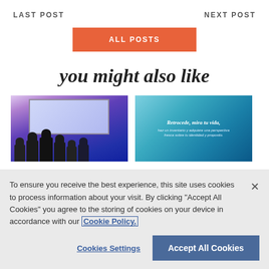LAST POST    NEXT POST
ALL POSTS
you might also like
[Figure (photo): Thumbnail of group of people on a stage with purple and blue background]
[Figure (photo): Thumbnail with teal/blue background and text: Retrocede, mira tu vida, haz un inventario y adquiere una perspectiva fresca sobre tu identidad y proposito.]
To ensure you receive the best experience, this site uses cookies to process information about your visit. By clicking "Accept All Cookies" you agree to the storing of cookies on your device in accordance with our Cookie Policy.
Cookies Settings
Accept All Cookies